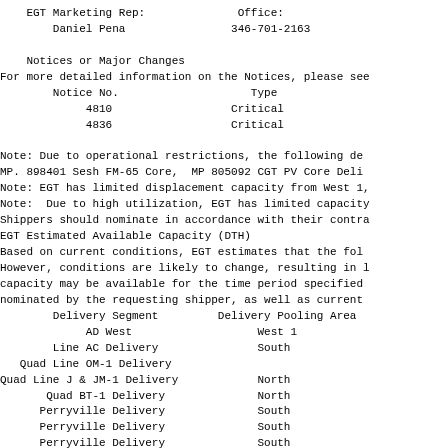EGT Marketing Rep:              Office:
    Daniel Pena                346-701-2163
Notices or Major Changes
For more detailed information on the Notices, please see
        Notice No.                    Type
             4810                  Critical
             4836                  Critical
Note: Due to operational restrictions, the following de
MP. 898401 Sesh FM-65 Core,  MP 805092 CGT PV Core Deli
Note: EGT has limited displacement capacity from West 1,
Note:  Due to high utilization, EGT has limited capacity
Shippers should nominate in accordance with their contr a
EGT Estimated Available Capacity (DTH)
Based on current conditions, EGT estimates that the fol
However, conditions are likely to change, resulting in l
capacity may be available for the time period specified
nominated by the requesting shipper, as well as current
       Delivery Segment         Delivery Pooling Area
            AD West                   West 1
       Line AC Delivery               South
  Quad Line OM-1 Delivery
Quad Line J & JM-1 Delivery            North
      Quad BT-1 Delivery              North
     Perryville Delivery              South
     Perryville Delivery              South
     Perryville Delivery              South
Perryville Hub Trading Point